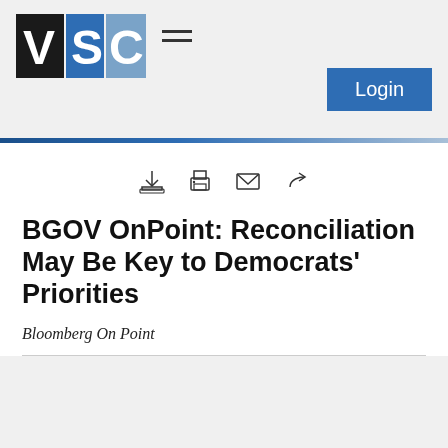VSC logo with hamburger menu and Login button
[Figure (logo): VSC logo made of three letter blocks: black V, medium blue S, light blue C, with hamburger menu icon to the right]
BGOV OnPoint: Reconciliation May Be Key to Democrats' Priorities
Bloomberg On Point